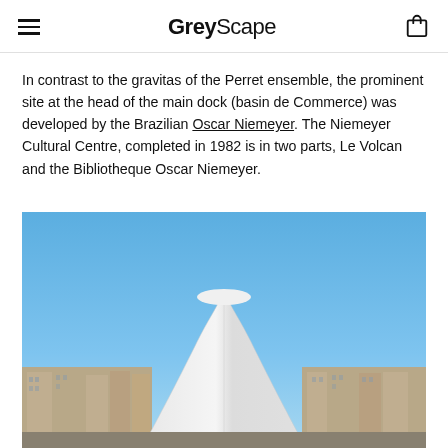GreyScape
In contrast to the gravitas of the Perret ensemble, the prominent site at the head of the main dock (basin de Commerce) was developed by the Brazilian Oscar Niemeyer. The Niemeyer Cultural Centre, completed in 1982 is in two parts, Le Volcan and the Bibliotheque Oscar Niemeyer.
[Figure (photo): Photograph of Le Volcan, the Niemeyer Cultural Centre in Le Havre — a large white conical/cylindrical modernist structure against a blue sky, with urban buildings visible in the background.]